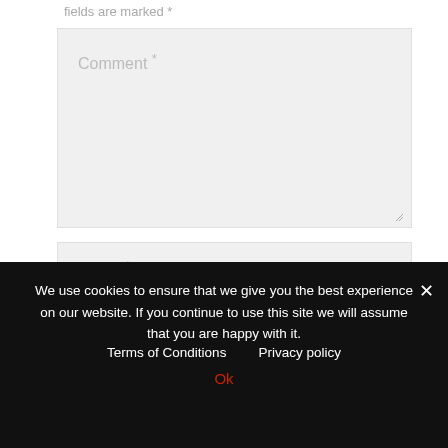fields are marked *
[Figure (screenshot): Comment text area input field with light gray background and placeholder text 'Comment *']
[Figure (screenshot): Name text input field with light gray background and placeholder text 'Name *']
[Figure (screenshot): Email text input field with light gray background and placeholder text 'Email *']
We use cookies to ensure that we give you the best experience on our website. If you continue to use this site we will assume that you are happy with it.   Terms of Conditions   Privacy policy
Ok